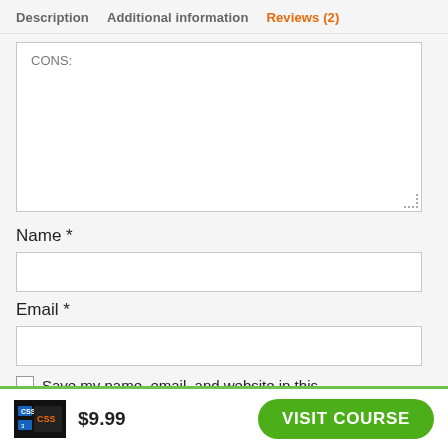Description   Additional information   Reviews (2)
CONS:
Name *
Email *
Save my name, email, and website in this
$9.99
VISIT COURSE